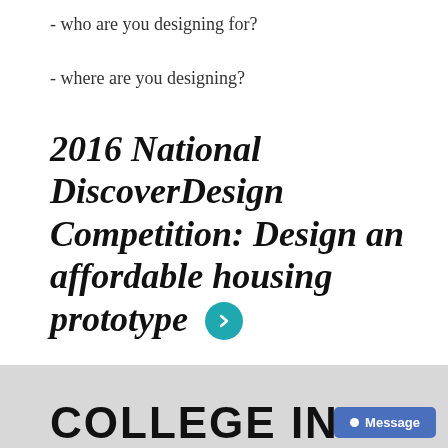- who are you designing for?
- where are you designing?
2016 National DiscoverDesign Competition: Design an affordable housing prototype
COLLEGE INFO